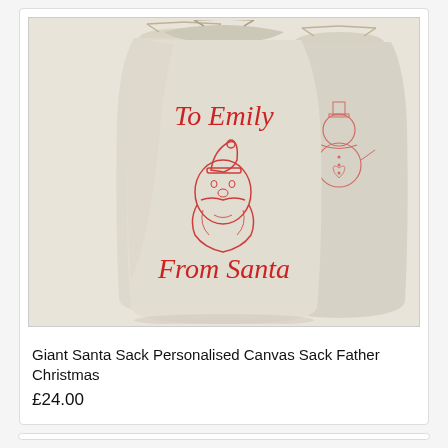[Figure (photo): Three cream/beige canvas drawstring sacks. The front sack has red embroidered/printed text reading 'To Emily' and 'From Santa' with a Santa Claus face illustration in red. The sacks behind show other Christmas designs (angel and snowman). The bags are photographed against a white background.]
Giant Santa Sack Personalised Canvas Sack Father Christmas
£24.00